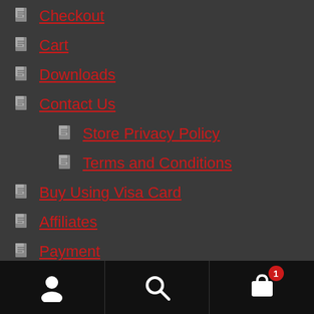Checkout
Cart
Downloads
Contact Us
Store Privacy Policy
Terms and Conditions
Buy Using Visa Card
Affiliates
Payment
Your Link Download
User | Search | Cart (1)